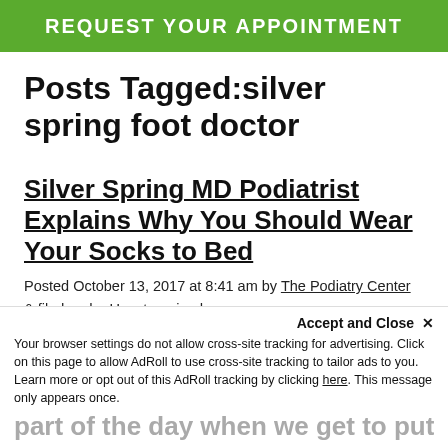REQUEST YOUR APPOINTMENT
Posts Tagged:silver spring foot doctor
Silver Spring MD Podiatrist Explains Why You Should Wear Your Socks to Bed
Posted October 13, 2017 at 8:41 am by The Podiatry Center & filed under Uncategorized
Accept and Close ✕
Your browser settings do not allow cross-site tracking for advertising. Click on this page to allow AdRoll to use cross-site tracking to tailor ads to you. Learn more or opt out of this AdRoll tracking by clicking here. This message only appears once.
part of the day when we get to put on som...